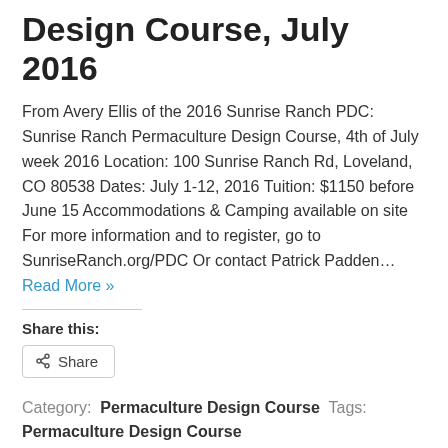Design Course, July 2016
From Avery Ellis of the 2016 Sunrise Ranch PDC: Sunrise Ranch Permaculture Design Course, 4th of July week 2016 Location: 100 Sunrise Ranch Rd, Loveland, CO 80538 Dates: July 1-12, 2016 Tuition: $1150 before June 15 Accommodations & Camping available on site For more information and to register, go to SunriseRanch.org/PDC Or contact Patrick Padden… Read More »
Share this:
Share
Category: Permaculture Design Course Tags: Permaculture Design Course
Local Mike Wind to co-lead…